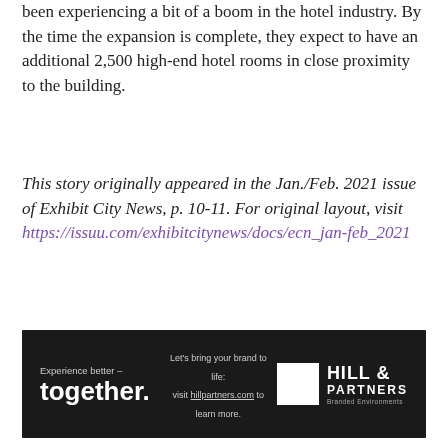been experiencing a bit of a boom in the hotel industry. By the time the expansion is complete, they expect to have an additional 2,500 high-end hotel rooms in close proximity to the building.
This story originally appeared in the Jan./Feb. 2021 issue of Exhibit City News, p. 10-11. For original layout, visit https://issuu.com/exhibitcitynews/docs/ecn_jan-feb_2021
[Figure (infographic): Hill & Partners advertisement banner with dark background. Left: 'Experience better – together.' tagline. Center: 'Let's bring your brand to life: visit hillpartners.com to learn more.' Right: Hill & Partners logo with white square and brand name.]